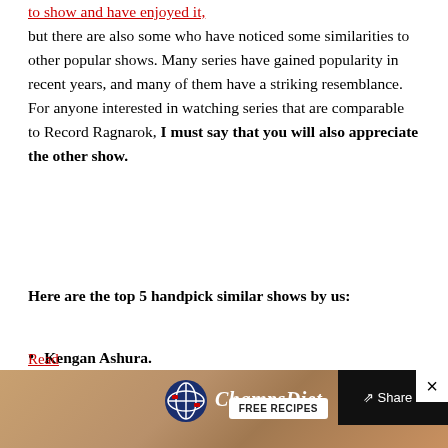...to show and have enjoyed it, but there are also some who have noticed some similarities to other popular shows. Many series have gained popularity in recent years, and many of them have a striking resemblance. For anyone interested in watching series that are comparable to Record Ragnarok, I must say that you will also appreciate the other show.
Here are the top 5 handpick similar shows by us:
Kengan Ashura.
Dragon Ball.
The God of High School.
Blood of Zeus.
The God of High School.
Read
[Figure (screenshot): ChampsDiet advertisement banner with logo, brand name in italic script, and FREE RECIPES button]